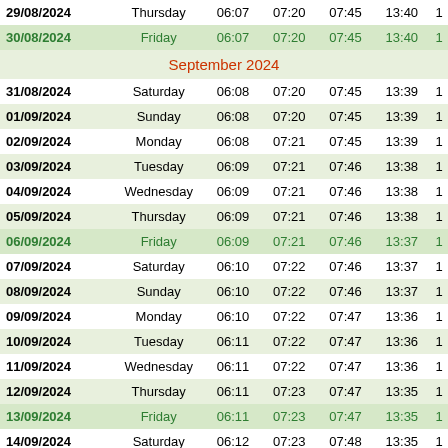| Date | Day | Col3 | Col4 | Col5 | Col6 | Col7 |
| --- | --- | --- | --- | --- | --- | --- |
| 29/08/2024 | Thursday | 06:07 | 07:20 | 07:45 | 13:40 | 1 |
| 30/08/2024 | Friday | 06:07 | 07:20 | 07:45 | 13:40 | 1 |
|  |  |  |  | September 2024 |  |  |
| 31/08/2024 | Saturday | 06:08 | 07:20 | 07:45 | 13:39 | 1 |
| 01/09/2024 | Sunday | 06:08 | 07:20 | 07:45 | 13:39 | 1 |
| 02/09/2024 | Monday | 06:08 | 07:21 | 07:45 | 13:39 | 1 |
| 03/09/2024 | Tuesday | 06:09 | 07:21 | 07:46 | 13:38 | 1 |
| 04/09/2024 | Wednesday | 06:09 | 07:21 | 07:46 | 13:38 | 1 |
| 05/09/2024 | Thursday | 06:09 | 07:21 | 07:46 | 13:38 | 1 |
| 06/09/2024 | Friday | 06:09 | 07:21 | 07:46 | 13:37 | 1 |
| 07/09/2024 | Saturday | 06:10 | 07:22 | 07:46 | 13:37 | 1 |
| 08/09/2024 | Sunday | 06:10 | 07:22 | 07:46 | 13:37 | 1 |
| 09/09/2024 | Monday | 06:10 | 07:22 | 07:47 | 13:36 | 1 |
| 10/09/2024 | Tuesday | 06:11 | 07:22 | 07:47 | 13:36 | 1 |
| 11/09/2024 | Wednesday | 06:11 | 07:22 | 07:47 | 13:36 | 1 |
| 12/09/2024 | Thursday | 06:11 | 07:23 | 07:47 | 13:35 | 1 |
| 13/09/2024 | Friday | 06:11 | 07:23 | 07:47 | 13:35 | 1 |
| 14/09/2024 | Saturday | 06:12 | 07:23 | 07:48 | 13:35 | 1 |